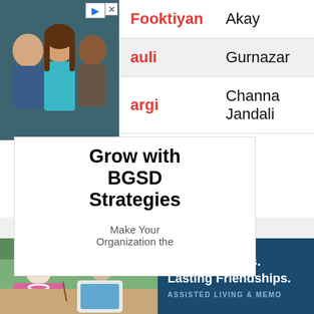[Figure (photo): Three people (a bald man, a woman with long brown hair, a man with dark complexion) posing together on a teal background — BGSD Strategies advertisement photo]
| Last Name | First Name |
| --- | --- |
| Fooktiyan | Akay |
| auli | Gurnazar |
| argi | Channa Jandali |
Grow with BGSD Strategies
Make Your Organization the
[Figure (photo): Elderly women painting at tables outdoors, with tablets and art supplies visible]
New Traditions.
Lasting Friendships.
ASSISTED LIVING & MEMO